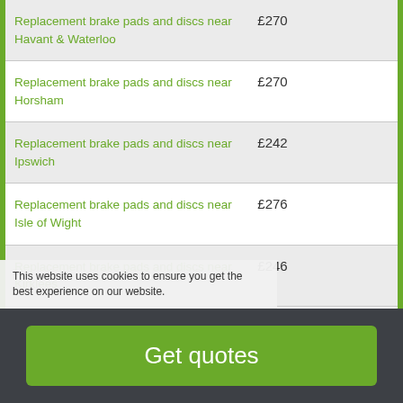| Service | Price |
| --- | --- |
| Replacement brake pads and discs near Havant & Waterloo | £270 |
| Replacement brake pads and discs near Horsham | £270 |
| Replacement brake pads and discs near Ipswich | £242 |
| Replacement brake pads and discs near Isle of Wight | £276 |
| Replacement brake pads and discs near Kirklees | £246 |
| Replacement brake pads and discs near ... | £254 |
This website uses cookies to ensure you get the best experience on our website.
Get quotes